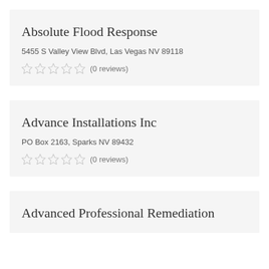Absolute Flood Response
5455 S Valley View Blvd, Las Vegas NV 89118
(0 reviews)
Advance Installations Inc
PO Box 2163, Sparks NV 89432
(0 reviews)
Advanced Professional Remediation